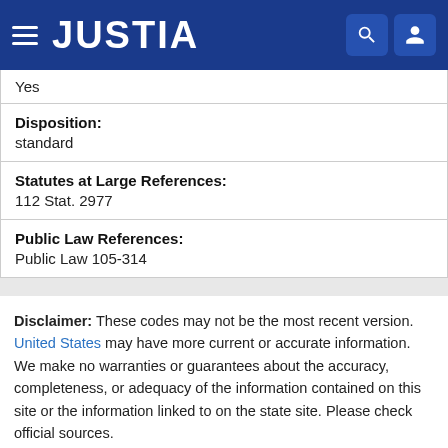JUSTIA
| Yes |
| Disposition: | standard |
| Statutes at Large References: | 112 Stat. 2977 |
| Public Law References: | Public Law 105-314 |
Disclaimer: These codes may not be the most recent version. United States may have more current or accurate information. We make no warranties or guarantees about the accuracy, completeness, or adequacy of the information contained on this site or the information linked to on the state site. Please check official sources.